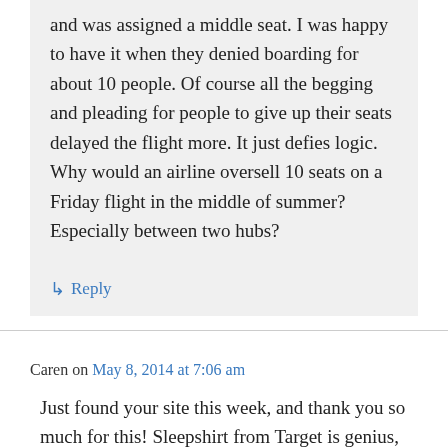and was assigned a middle seat. I was happy to have it when they denied boarding for about 10 people. Of course all the begging and pleading for people to give up their seats delayed the flight more. It just defies logic. Why would an airline oversell 10 seats on a Friday flight in the middle of summer? Especially between two hubs?
↳ Reply
Caren on May 8, 2014 at 7:06 am
Just found your site this week, and thank you so much for this! Sleepshirt from Target is genius, I just bought a lovely navy stripe which will work